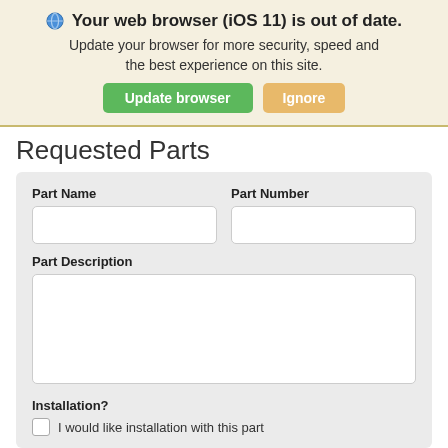🌐 Your web browser (iOS 11) is out of date. Update your browser for more security, speed and the best experience on this site. [Update browser] [Ignore]
Requested Parts
Part Name
Part Number
Part Description
Installation?
I would like installation with this part